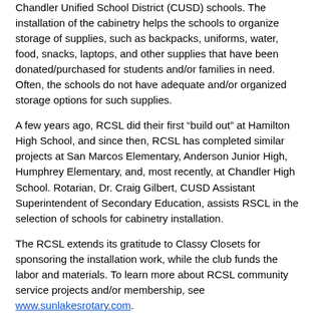Chandler Unified School District (CUSD) schools. The installation of the cabinetry helps the schools to organize storage of supplies, such as backpacks, uniforms, water, food, snacks, laptops, and other supplies that have been donated/purchased for students and/or families in need. Often, the schools do not have adequate and/or organized storage options for such supplies.
A few years ago, RCSL did their first “build out” at Hamilton High School, and since then, RCSL has completed similar projects at San Marcos Elementary, Anderson Junior High, Humphrey Elementary, and, most recently, at Chandler High School. Rotarian, Dr. Craig Gilbert, CUSD Assistant Superintendent of Secondary Education, assists RSCL in the selection of schools for cabinetry installation.
The RCSL extends its gratitude to Classy Closets for sponsoring the installation work, while the club funds the labor and materials. To learn more about RCSL community service projects and/or membership, see www.sunlakesrotary.com.